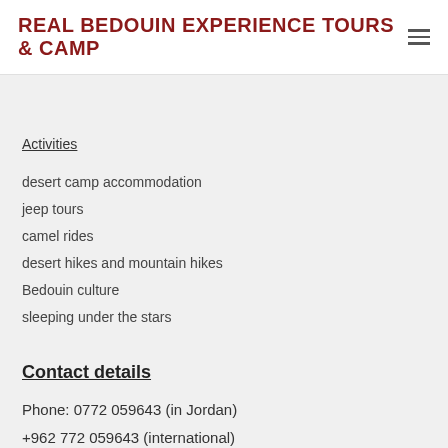REAL BEDOUIN EXPERIENCE TOURS & CAMP
Activities
desert camp accommodation
jeep tours
camel rides
desert hikes and mountain hikes
Bedouin culture
sleeping under the stars
Contact details
Phone: 0772 059643 (in Jordan)
+962 772 059643 (international)
Email:
contact@wadirum-jordan.com